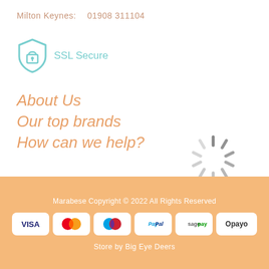Milton Keynes:    01908 311104
[Figure (illustration): SSL Secure badge with padlock icon and 'SSL Secure' text in teal/cyan color]
About Us
Our top brands
How can we help?
[Figure (illustration): Loading spinner graphic — radial lines in grey indicating a loading state]
Marabese Copyright © 2022 All Rights Reserved
VISA | Mastercard | Maestro | PayPal | sagepay | Opayo
Store by Big Eye Deers